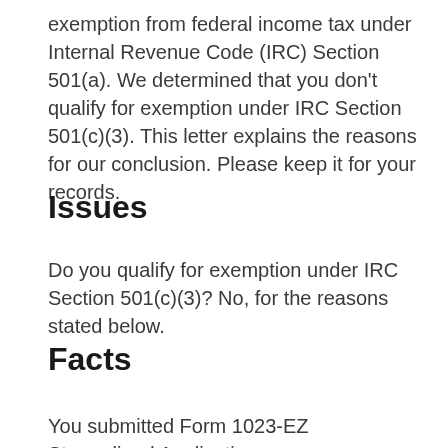exemption from federal income tax under Internal Revenue Code (IRC) Section 501(a). We determined that you don't qualify for exemption under IRC Section 501(c)(3). This letter explains the reasons for our conclusion. Please keep it for your records.
Issues
Do you qualify for exemption under IRC Section 501(c)(3)? No, for the reasons stated below.
Facts
You submitted Form 1023-EZ Streamlined Application